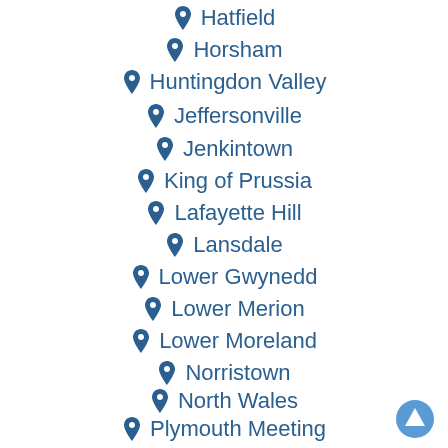Hatfield
Horsham
Huntingdon Valley
Jeffersonville
Jenkintown
King of Prussia
Lafayette Hill
Lansdale
Lower Gwynedd
Lower Merion
Lower Moreland
Norristown
North Wales
Plymouth Meeting
Souderton